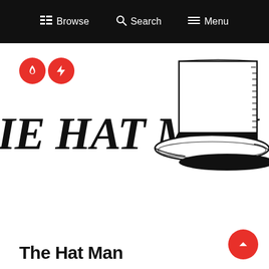Browse  Search  Menu
[Figure (illustration): Two red circular icons: a flame icon and a lightning bolt icon]
THE HAT MAN
[Figure (illustration): Black and white pencil sketch of a top hat (tall hat with wide brim), partially cropped at the right edge]
The Hat Man